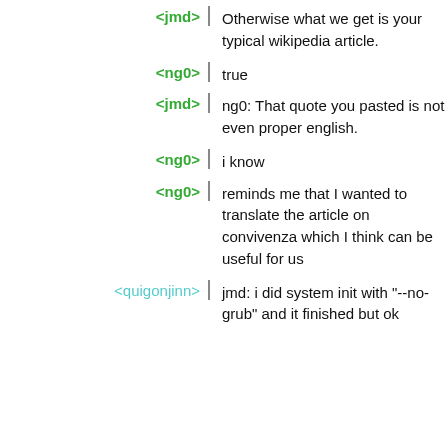<jmd> Otherwise what we get is your typical wikipedia article.
<ng0> true
<jmd> ng0: That quote you pasted is not even proper english.
<ng0> i know
<ng0> reminds me that I wanted to translate the article on convivenza which I think can be useful for us
<quigonjinn> jmd: i did system init with "--no-grub" and it finished but ok